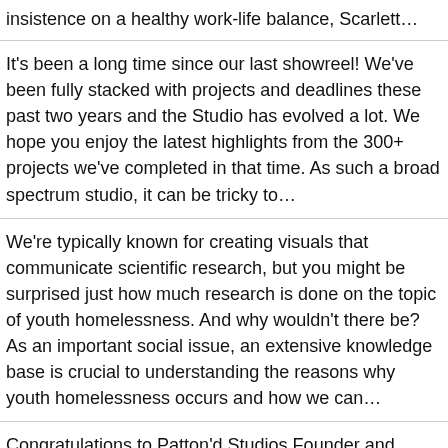insistence on a healthy work-life balance, Scarlett…
It's been a long time since our last showreel! We've been fully stacked with projects and deadlines these past two years and the Studio has evolved a lot. We hope you enjoy the latest highlights from the 300+ projects we've completed in that time. As such a broad spectrum studio, it can be tricky to…
We're typically known for creating visuals that communicate scientific research, but you might be surprised just how much research is done on the topic of youth homelessness. And why wouldn't there be? As an important social issue, an extensive knowledge base is crucial to understanding the reasons why youth homelessness occurs and how we can…
Congratulations to Patton'd Studios Founder and Creative Director Molly Patton, who last month made the shortlist for B&T's 30 Under 30. Sponsored by Vevo, B&T's 30U30 Awards…